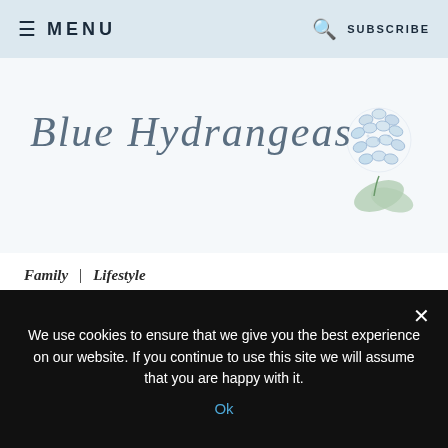≡ MENU  🔍 SUBSCRIBE
[Figure (logo): Blue Hydrangeas blog logo with cursive script text 'Blue Hydrangeas' and a watercolor hydrangea flower illustration on the right]
Family | Lifestyle
HALLOWEEN READY WITH CHASING FIREFLIES...
We use cookies to ensure that we give you the best experience on our website. If you continue to use this site we will assume that you are happy with it.
Ok